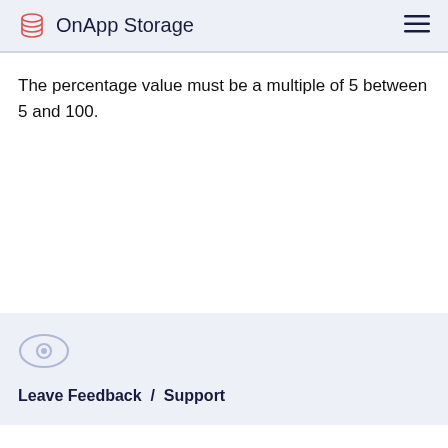OnApp Storage
The percentage value must be a multiple of 5 between 5 and 100.
Leave Feedback / Support